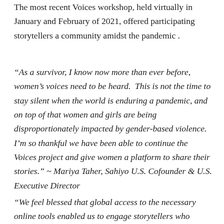The most recent Voices workshop, held virtually in January and February of 2021, offered participating storytellers a community amidst the pandemic .
“As a survivor, I know now more than ever before, women’s voices need to be heard. This is not the time to stay silent when the world is enduring a pandemic, and on top of that women and girls are being disproportionately impacted by gender-based violence. I’m so thankful we have been able to continue the Voices project and give women a platform to share their stories.” ~ Mariya Taher, Sahiyo U.S. Cofounder & U.S. Executive Director
“We feel blessed that global access to the necessary online tools enabled us to engage storytellers who would not have been able to travel to an in-person digital storytelling workshop. The